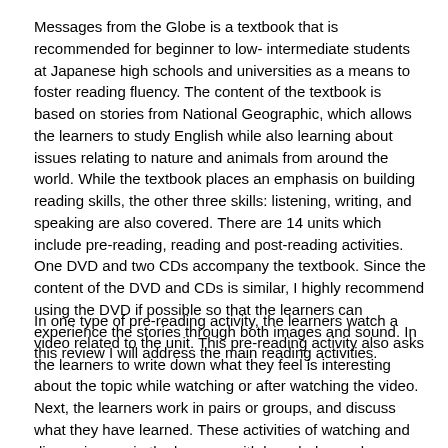Messages from the Globe is a textbook that is recommended for beginner to low- intermediate students at Japanese high schools and universities as a means to foster reading fluency. The content of the textbook is based on stories from National Geographic, which allows the learners to study English while also learning about issues relating to nature and animals from around the world. While the textbook places an emphasis on building reading skills, the other three skills: listening, writing, and speaking are also covered. There are 14 units which include pre-reading, reading and post-reading activities. One DVD and two CDs accompany the textbook. Since the content of the DVD and CDs is similar, I highly recommend using the DVD if possible so that the learners can experience the stories through both images and sound. In this review I will address the main reading activities.
In one type of pre-reading activity, the learners watch a video related to the unit. This pre-reading activity also asks the learners to write down what they feel is interesting about the topic while watching or after watching the video. Next, the learners work in pairs or groups, and discuss what they have learned. These activities of watching and discussing equip the learners with knowledge and experience which provides necessary schema to make the readings easier to grasp.